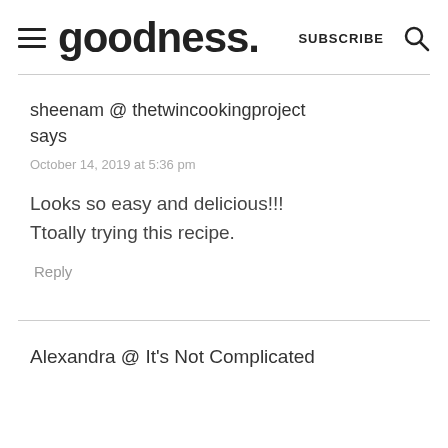goodness. SUBSCRIBE
sheenam @ thetwincookingproject says
October 14, 2019 at 5:36 pm
Looks so easy and delicious!!! Ttoally trying this recipe.
Reply
Alexandra @ It's Not Complicated